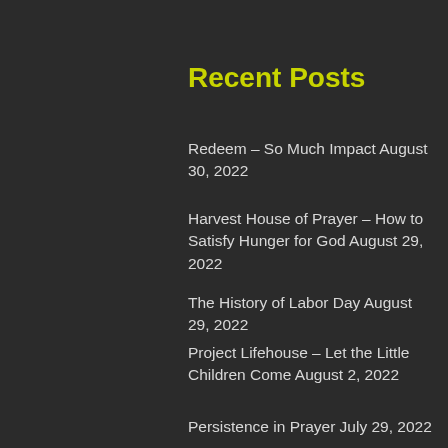Recent Posts
Redeem – So Much Impact August 30, 2022
Harvest House of Prayer – How to Satisfy Hunger for God August 29, 2022
The History of Labor Day August 29, 2022
Project Lifehouse – Let the Little Children Come August 2, 2022
Persistence in Prayer  July 29, 2022
Facebook